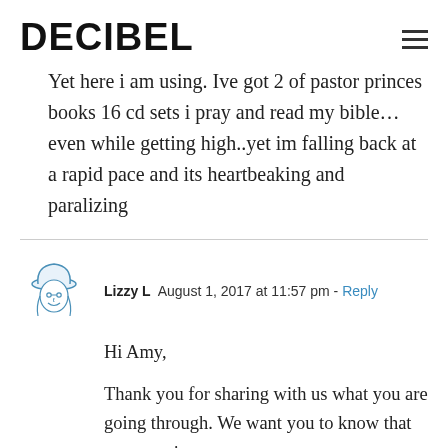DECIBEL
Yet here i am using. Ive got 2 of pastor princes books 16 cd sets i pray and read my bible…even while getting high..yet im falling back at a rapid pace and its heartbeaking and paralizing
Lizzy L  August 1, 2017 at 11:57 pm - Reply

Hi Amy,

Thank you for sharing with us what you are going through. We want you to know that our team is